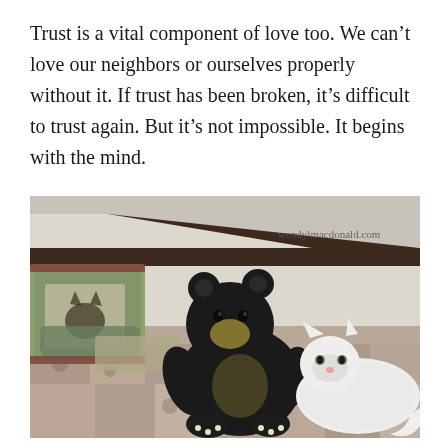Trust is a vital component of love too. We can't love our neighbors or ourselves properly without it. If trust has been broken, it's difficult to trust again. But it's not impossible. It begins with the mind.
[Figure (photo): A white fluffy Persian cat lying on a floral quilt bed, next to a large black stuffed bear toy. There is a decorative pillow with a cat design in the background, and a dark wooden headboard. Watermark reads 'wendylmacdonald.com'.]